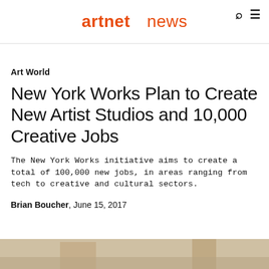artnet news
Art World
New York Works Plan to Create New Artist Studios and 10,000 Creative Jobs
The New York Works initiative aims to create a total of 100,000 new jobs, in areas ranging from tech to creative and cultural sectors.
Brian Boucher, June 15, 2017
[Figure (photo): Bottom portion of a photograph showing warm beige/tan tones, partially cropped]